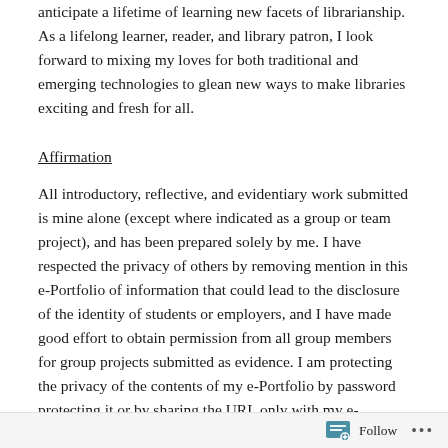anticipate a lifetime of learning new facets of librarianship. As a lifelong learner, reader, and library patron, I look forward to mixing my loves for both traditional and emerging technologies to glean new ways to make libraries exciting and fresh for all.
Affirmation
All introductory, reflective, and evidentiary work submitted is mine alone (except where indicated as a group or team project), and has been prepared solely by me. I have respected the privacy of others by removing mention in this e-Portfolio of information that could lead to the disclosure of the identity of students or employers, and I have made good effort to obtain permission from all group members for group projects submitted as evidence. I am protecting the privacy of the contents of my e-Portfolio by password protecting it or by sharing the URL only with my e-portfolio
Follow